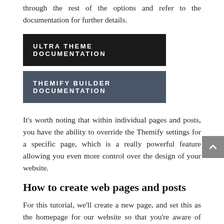through the rest of the options and refer to the documentation for further details.
ULTRA THEME DOCUMENTATION
THEMIFY BUILDER DOCUMENTATION
It’s worth noting that within individual pages and posts, you have the ability to override the Themify settings for a specific page, which is a really powerful feature allowing you even more control over the design of your website.
How to create web pages and posts
For this tutorial, we’ll create a new page, and set this as the homepage for our website so that you’re aware of how the homepage is set for your website.